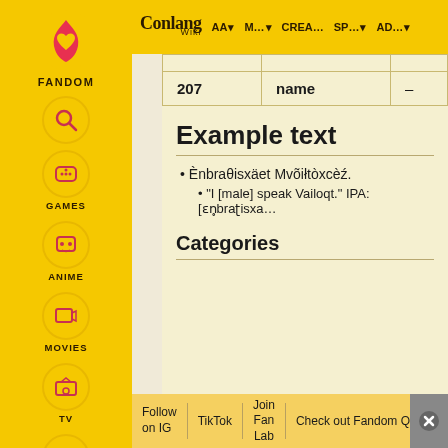Conlang Wiki | AA▼ | M...▼ | CREA... | SP...▼ | AD...▼
| 207 | name | – |
Example text
Ènbraθisxäet Mvõiłtòxcèź.
"I [male] speak Vailoqt." IPA: [ɛn̥braʈisxa...
Categories
Follow on IG | TikTok | Join Fan Lab | Check out Fandom Quizzes and cha...